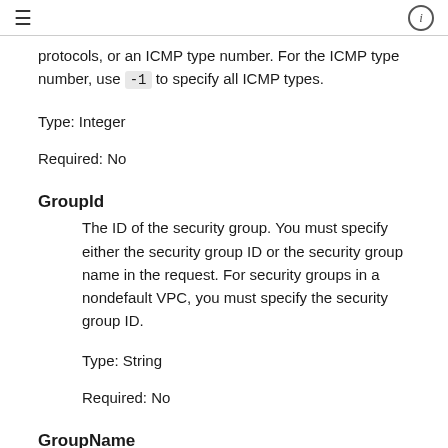protocols, or an ICMP type number. For the ICMP type number, use -1 to specify all ICMP types.
Type: Integer
Required: No
GroupId
The ID of the security group. You must specify either the security group ID or the security group name in the request. For security groups in a nondefault VPC, you must specify the security group ID.
Type: String
Required: No
GroupName